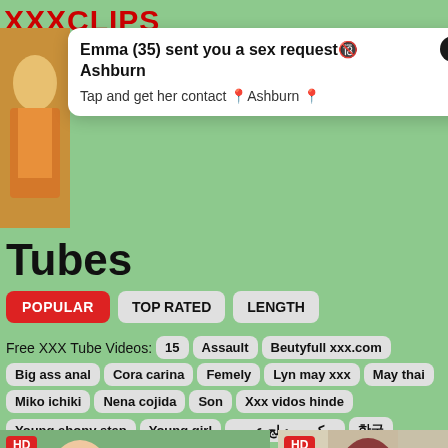XXXCLIPS
[Figure (screenshot): Popup notification overlay showing woman photo with text: Emma (35) sent you a sex request Ashburn. Tap and get her contact Ashburn]
Tubes
POPULAR
TOP RATED
LENGTH
Free XXX Tube Videos: 15 Assault Beutyfull xxx.com Big ass anal Cora carina Femely Lyn may xxx May thai Miko ichiki Nena cojida Son Xxx vidos hinde Young ebony step Young girl سکس مدبلج عربی
[Figure (photo): HD video thumbnail showing a couple outdoors]
[Figure (photo): HD video thumbnail showing women indoors]